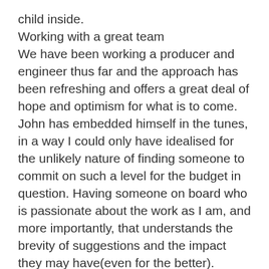child inside.
Working with a great team
We have been working a producer and engineer thus far and the approach has been refreshing and offers a great deal of hope and optimism for what is to come. John has embedded himself in the tunes, in a way I could only have idealised for the unlikely nature of finding someone to commit on such a level for the budget in question. Having someone on board who is passionate about the work as I am, and more importantly, that understands the brevity of suggestions and the impact they may have(even for the better). Always delivered with class.
Lastly, hearing these songs come together with Bass on top of the guitars